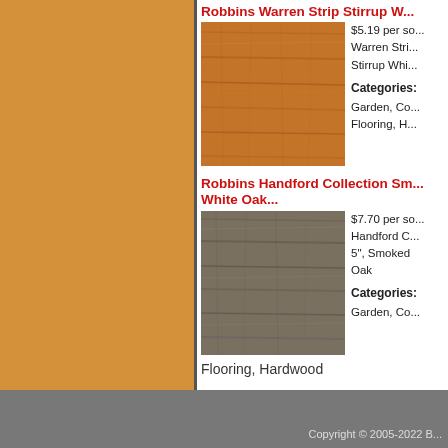Robbins Warren Strip Stirrup W...
$5.19 per sq... Warren Stri... Stirrup Whi...
Categories: Garden, Co... Flooring, H...
Robbins Handford Collection Sm... White Oak...
$7.70 per sq... Handford C... 5", Smoked Oak
Categories: Garden, Co...
Flooring, Hardwood
Copyright © 2005-2022 B...